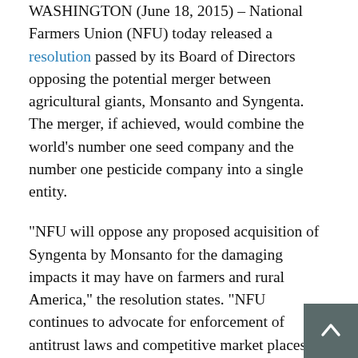WASHINGTON (June 18, 2015) – National Farmers Union (NFU) today released a resolution passed by its Board of Directors opposing the potential merger between agricultural giants, Monsanto and Syngenta. The merger, if achieved, would combine the world's number one seed company and the number one pesticide company into a single entity.
“NFU will oppose any proposed acquisition of Syngenta by Monsanto for the damaging impacts it may have on farmers and rural America,” the resolution states. “NFU continues to advocate for enforcement of antitrust laws and competitive market places for farmers.”
National Farmers Union President Roger Johnson noted that agriculture has faced a concentration of economic power over the past 30 years and such a merger would be another step in that direction. The new entity created by this merger would dwarf other agribusinesses and eliminate